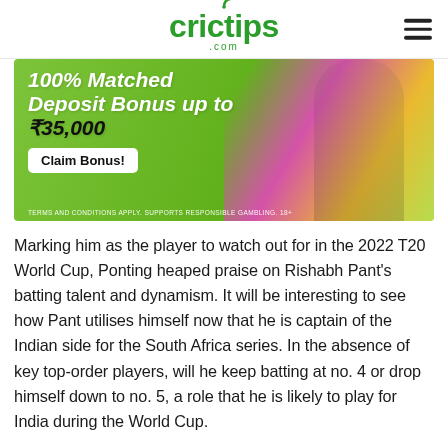crictips .com
[Figure (infographic): Advertisement banner with green background showing '100% Matched Deposit Bonus up to ₹35,000' with a Claim Bonus! button and a person celebrating in the background. Text at bottom: TERMS AND CONDITIONS APPLY. SUPPORTS RESPONSIBLE GAMBLING. 18+]
Marking him as the player to watch out for in the 2022 T20 World Cup, Ponting heaped praise on Rishabh Pant's batting talent and dynamism. It will be interesting to see how Pant utilises himself now that he is captain of the Indian side for the South Africa series. In the absence of key top-order players, will he keep batting at no. 4 or drop himself down to no. 5, a role that he is likely to play for India during the World Cup.